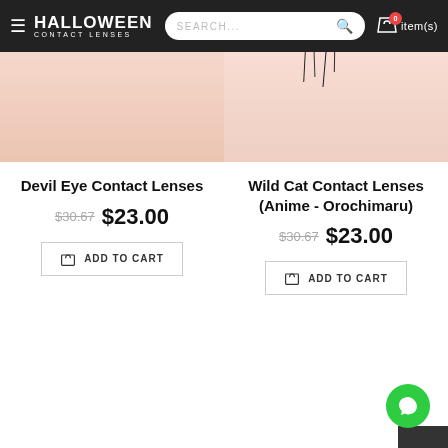HALLOWEEN CONTACT LENSES — Search bar — 0 item(s)
[Figure (photo): Top portion of a face showing skin/forehead, left product image for Devil Eye Contact Lenses]
[Figure (photo): Top portion of a face showing skin/forehead with dark hair strands, right product image for Wild Cat Contact Lenses]
Devil Eye Contact Lenses
$30.67  $23.00
ADD TO CART
Wild Cat Contact Lenses (Anime - Orochimaru)
$30.67  $23.00
ADD TO CART